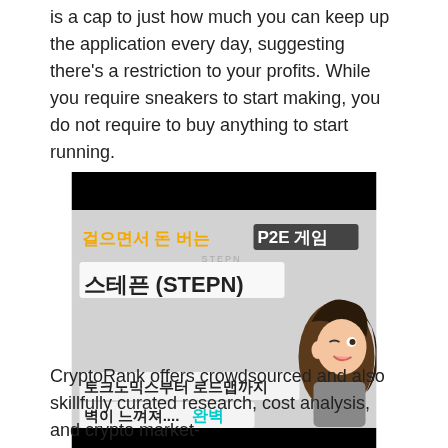is a cap to just how much you can keep up the application every day, suggesting there's a restriction to your profits. While you require sneakers to start making, you do not require to buy anything to start running.
[Figure (illustration): Korean YouTube thumbnail for STEPN (P2E game) showing Korean text about walking to earn money, tokenomics and roadmap, with an anime character]
CryptoRank offers crowdsourced and also skillfully curated research, cost analysis, and crypto market-